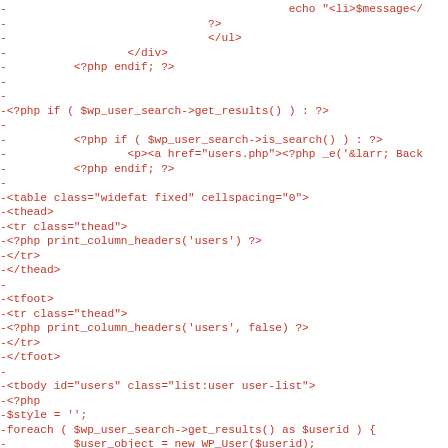Code diff showing removed lines (prefixed with -) in red monospace font, containing PHP/HTML template code for WordPress user search/listing functionality.